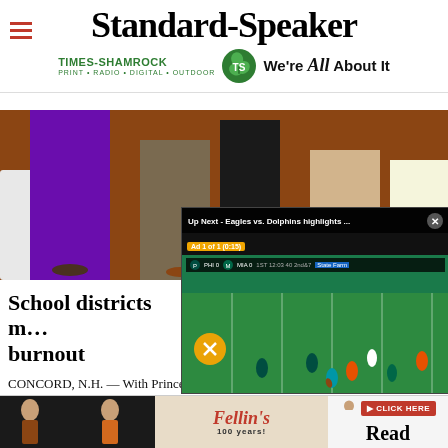Standard-Speaker
[Figure (logo): Times-Shamrock logo with shamrock icon and tagline 'We're All About It']
[Figure (photo): Photo of people standing at an event, lower halves visible]
[Figure (screenshot): Video overlay: 'Up Next - Eagles vs. Dolphins highlights ...' with an NFL game video playing, mute button visible, Ad 1 of 1 (0:15)]
School districts m... burnout
CONCORD, N.H. — With Prince's "Raspberry Beret" blaring ... educа...
[Figure (photo): Advertisement banner with Fellin's 100 years, fashion photos, and Click Here button]